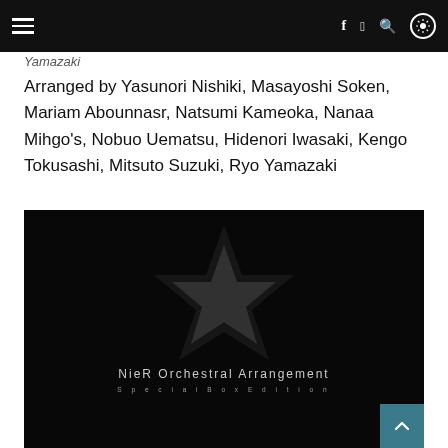Navigation bar with menu, facebook, twitter, search, and settings icons
Yamazaki
Arranged by Yasunori Nishiki, Masayoshi Soken, Mariam Abounnasr, Natsumi Kameoka, Nanaa Mihgo's, Nobuo Uematsu, Hidenori Iwasaki, Kengo Tokusashi, Mitsuto Suzuki, Ryo Yamazaki
[Figure (photo): Album art for NieR Orchestral Arrangement Special Box Edition — dark/black background with a faint star/crystal shape, text reading 'NieR Orchestral Arrangement' and 'Special Box Edition']